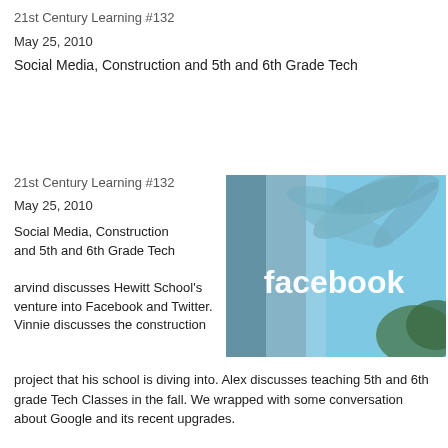21st Century Learning #132
May 25, 2010
Social Media, Construction and 5th and 6th Grade Tech
21st Century Learning #132
May 25, 2010
Social Media, Construction and 5th and 6th Grade Tech
[Figure (photo): Facebook logo sign on a glass building with palm tree leaves visible in the background, sky blue tones]
arvind discusses Hewitt School's venture into Facebook and Twitter.  Vinnie discusses the construction project that his school is diving into.  Alex discusses teaching 5th and 6th grade Tech Classes in the fall.  We wrapped with some conversation about Google and its recent upgrades.